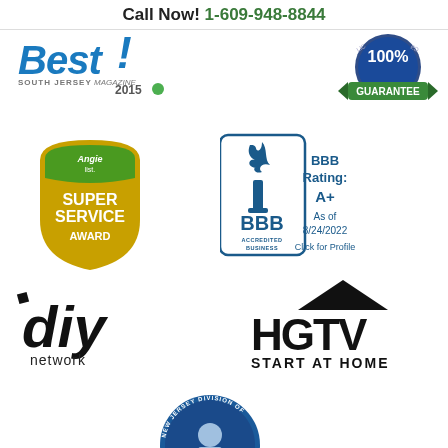Call Now! 1-609-948-8844
[Figure (logo): Best of South Jersey Magazine 2015 logo]
[Figure (logo): 100% Guarantee badge]
[Figure (logo): Angie's List Super Service Award logo]
[Figure (logo): BBB Accredited Business logo with BBB Rating A+ as of 8/24/2022, Click for Profile]
[Figure (logo): DIY Network logo]
[Figure (logo): HGTV Start at Home logo]
[Figure (logo): New Jersey Division of Consumer Affairs logo (partially visible)]